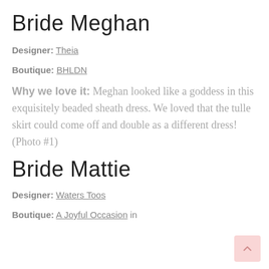Bride Meghan
Designer: Theia
Boutique: BHLDN
Why we love it: Meghan looked like a goddess in this exquisitely beaded sheath dress. We loved that the tulle skirt could come off and double as a different dress! (Photo #1)
Bride Mattie
Designer: Waters Toos
Boutique: A Joyful Occasion in